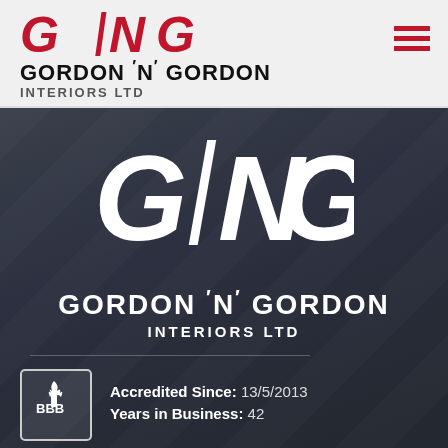[Figure (logo): GNG Gordon 'N' Gordon Interiors Ltd logo in header — red GNG letters with vertical bar, black company name below]
[Figure (logo): GNG Gordon 'N' Gordon Interiors Ltd large white logo on dark background]
Accredited Since: 13/5/2013
Years in Business: 42
Main Office
845 Orono Ave, Victoria,